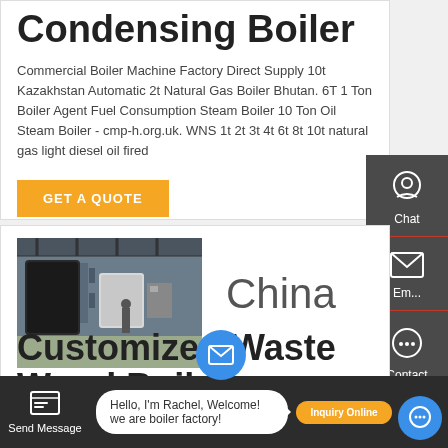Condensing Boiler
Commercial Boiler Machine Factory Direct Supply 10t Kazakhstan Automatic 2t Natural Gas Boiler Bhutan. 6T 1 Ton Boiler Agent Fuel Consumption Steam Boiler 10 Ton Oil Steam Boiler - cmp-h.org.uk. WNS 1t 2t 3t 4t 6t 8t 10t natural gas light diesel oil fired
[Figure (other): Orange GET A QUOTE button]
[Figure (other): Dark sidebar with Chat, Email, Contact icons]
[Figure (photo): Industrial boiler factory interior photo]
China
Customized Waste Wood Boile...
Hello, I'm Rachel, Welcome! we are boiler factory!
Send Message   Inquiry Online